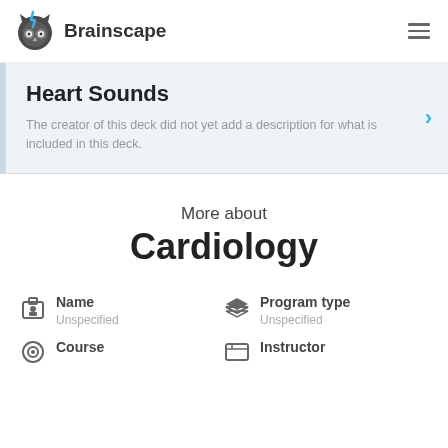Brainscape
Heart Sounds
The creator of this deck did not yet add a description for what is included in this deck.
More about Cardiology
Name
Unspecified
Program type
Unspecified
Course
Instructor